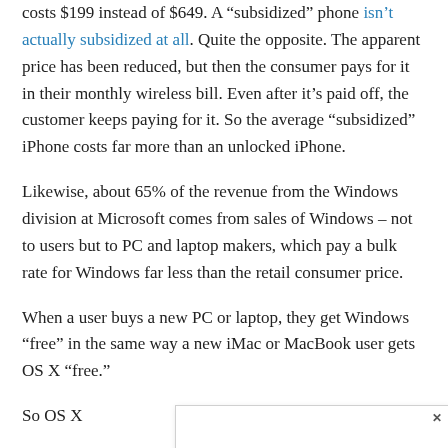costs $199 instead of $649. A "subsidized" phone isn't actually subsidized at all. Quite the opposite. The apparent price has been reduced, but then the consumer pays for it in their monthly wireless bill. Even after it's paid off, the customer keeps paying for it. So the average "subsidized" iPhone costs far more than an unlocked iPhone.
Likewise, about 65% of the revenue from the Windows division at Microsoft comes from sales of Windows – not to users but to PC and laptop makers, which pay a bulk rate for Windows far less than the retail consumer price.
When a user buys a new PC or laptop, they get Windows "free" in the same way a new iMac or MacBook user gets OS X "free."
So OS X ... costs less than ... ng policy